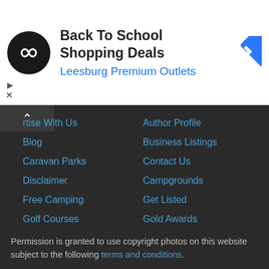[Figure (infographic): Advertisement banner: black circular logo with infinity-like symbol, text 'Back To School Shopping Deals' and 'Leesburg Premium Outlets', blue diamond navigation icon on right. Small play and X controls below on left.]
rtise With Us
Author Profile
Blog
Business Listings
Caravan Parks
Contact Us
Disclaimer
Campgrounds
Free Camping
Get Listed
Golf Courses
Gold Awards
Privacy
Search
Tourist Attractions
User Feedback
Permission is granted to use copyright photos on this website subject to the following terms and conditions.